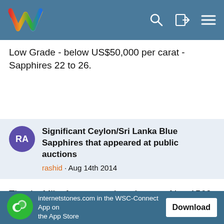[Figure (screenshot): Website header bar with colorful W logo and navigation icons (search, login, menu) on blue background]
Low Grade - below US$50,000 per carat - Sapphires 22 to 26.
Significant Ceylon/Sri Lanka Blue Sapphires that appeared at public auctions
rashid · Aug 14th 2014
Thanks Mike for your update. Image of Lot 1560 was of special interest. This is the first time I am seeing an image of a heat treated blue sapphire. The treatment seems to
This site uses cookies. By continuing to browse this site, you are agreeing to our use of cookies.
internetstones.com in the WSC-Connect App on the App Store